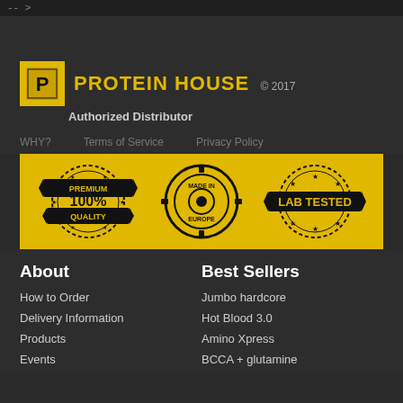-- >
[Figure (logo): Protein House logo: yellow square with stylized P icon, brand name PROTEIN HOUSE in yellow, copyright 2017, Authorized Distributor subtitle]
WHY?    Terms of Service    Privacy Policy
[Figure (infographic): Yellow banner with three black stamp badges: PREMIUM QUALITY 100%, MADE IN EUROPE, LAB TESTED]
About
Best Sellers
How to Order
Jumbo hardcore
Delivery Information
Hot Blood 3.0
Products
Amino Xpress
Events
BCCA + glutamine